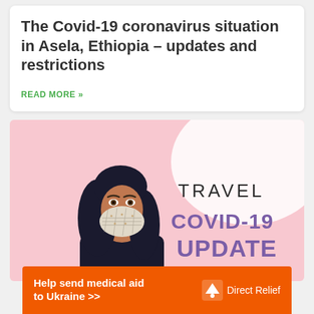The Covid-19 coronavirus situation in Asela, Ethiopia – updates and restrictions
READ MORE »
[Figure (illustration): Illustration of a woman wearing a patterned face mask on a pink background with text reading TRAVEL COVID-19 UPDATE]
Help send medical aid to Ukraine >> DirectRelief